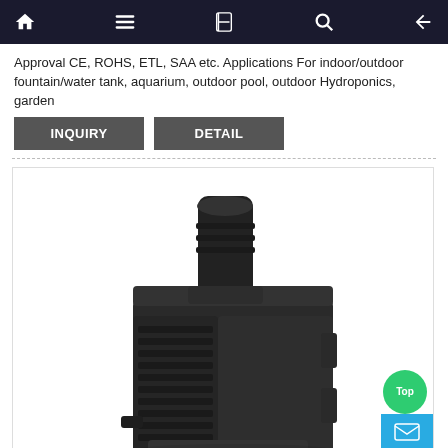Navigation bar with home, menu, book, search, and back icons
Approval CE, ROHS, ETL, SAA etc. Applications For indoor/outdoor fountain/water tank, aquarium, outdoor pool, outdoor Hydroponics, garden
INQUIRY  DETAIL
[Figure (photo): A black submersible water pump with ribbed sides and a top outlet nozzle, photographed on a white background.]
Top